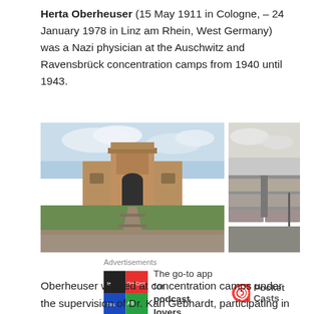Herta Oberheuser (15 May 1911 in Cologne, – 24 January 1978 in Linz am Rhein, West Germany) was a Nazi physician at the Auschwitz and Ravensbrück concentration camps from 1940 until 1943.
[Figure (photo): Color photo of Auschwitz concentration camp main gate with railroad tracks leading to it]
[Figure (photo): Black and white photo of Ravensbrück concentration camp showing barracks rows]
Advertisements
[Figure (logo): Pocket Casts advertisement — The go-to app for podcast lovers.]
Oberheuser worked at concentration camps under the supervision of Dr. Karl Gebhardt, participating in